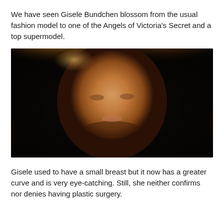We have seen Gisele Bundchen blossom from the usual fashion model to one of the Angels of Victoria's Secret and a top supermodel.
[Figure (photo): Close-up portrait photo of Gisele Bundchen with long wavy blonde/brown hair against a dark background]
Gisele used to have a small breast but it now has a greater curve and is very eye-catching. Still, she neither confirms nor denies having plastic surgery.